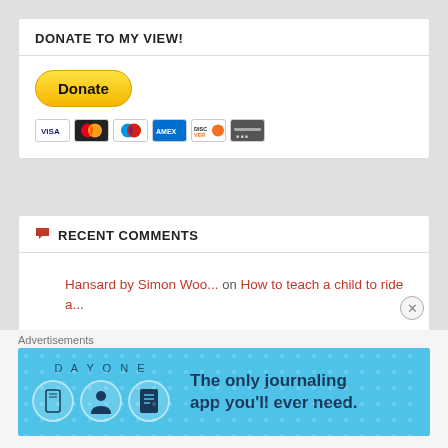DONATE TO MY VIEW!
[Figure (other): PayPal Donate button with credit card icons (Visa, Mastercard, Maestro, Amex, Discover, unknown)]
RECENT COMMENTS
Hansard by Simon Woo... on How to teach a child to ride a...
Hansard by Simon Woo... on Pour me another
GIRL, TAKEN - The Ce... on Lost and found: My baby girl
Advertisements
[Figure (screenshot): Day One journaling app advertisement banner: 'The only journaling app you'll ever need.']